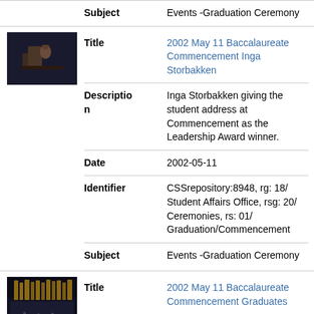Subject: Events -Graduation Ceremony
[Figure (photo): Small thumbnail photo of a person in graduation regalia speaking at a podium, dark background.]
Title: 2002 May 11 Baccalaureate Commencement Inga Storbakken
Description: Inga Storbakken giving the student address at Commencement as the Leadership Award winner.
Date: 2002-05-11
Identifier: CSSrepository:8948, rg: 18/ Student Affairs Office, rsg: 20/ Ceremonies, rs: 01/ Graduation/Commencement
Subject: Events -Graduation Ceremony
[Figure (photo): Small thumbnail photo of a large group at a graduation ceremony in an auditorium, dark background.]
Title: 2002 May 11 Baccalaureate Commencement Graduates